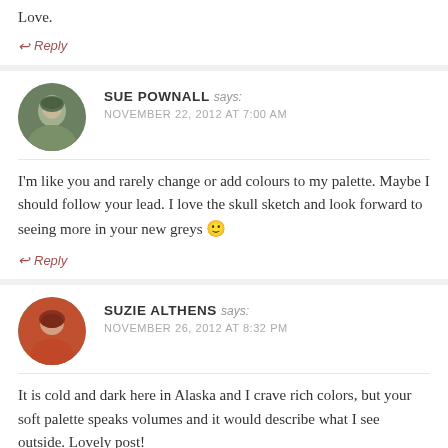Love.
↩ Reply
SUE POWNALL says: NOVEMBER 22, 2012 AT 7:00 AM
I'm like you and rarely change or add colours to my palette. Maybe I should follow your lead. I love the skull sketch and look forward to seeing more in your new greys 🙂
↩ Reply
SUZIE ALTHENS says: NOVEMBER 26, 2012 AT 8:32 PM
It is cold and dark here in Alaska and I crave rich colors, but your soft palette speaks volumes and it would describe what I see outside. Lovely post!
↩ Reply